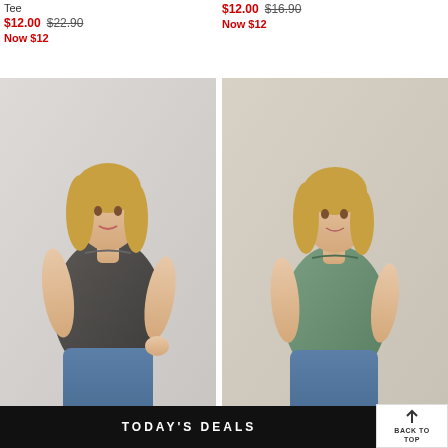Tee
$12.00  $22.90
Now $12
$12.00  $16.90
Now $12
[Figure (photo): Woman wearing a dark gray sleeveless tank top with lace neckline detail, paired with blue jeans. Blonde hair, white background.]
[Figure (photo): Woman wearing a sage/olive green sleeveless tank top, paired with blue jeans. Blonde hair, beige/white background.]
TODAY'S DEALS
BACK TO TOP